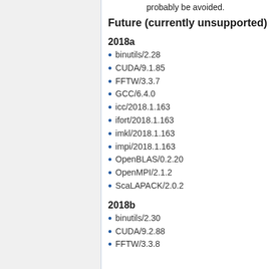probably be avoided.
Future (currently unsupported)
2018a
binutils/2.28
CUDA/9.1.85
FFTW/3.3.7
GCC/6.4.0
icc/2018.1.163
ifort/2018.1.163
imkl/2018.1.163
impi/2018.1.163
OpenBLAS/0.2.20
OpenMPI/2.1.2
ScaLAPACK/2.0.2
2018b
binutils/2.30
CUDA/9.2.88
FFTW/3.3.8